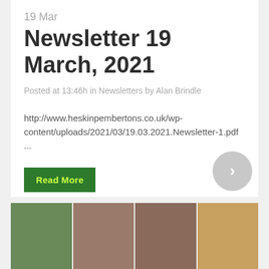19 Mar
Newsletter 19 March, 2021
Posted at 13:46h in Newsletters by Alan Brindle
http://www.heskinpembertons.co.uk/wp-content/uploads/2021/03/19.03.2021.Newsletter-1.pdf ...
Read More
[Figure (photo): Strip of four photos showing children at school activities]